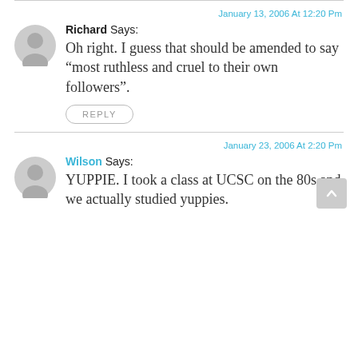January 13, 2006 At 12:20 Pm
Richard Says: Oh right. I guess that should be amended to say “most ruthless and cruel to their own followers”.
REPLY
January 23, 2006 At 2:20 Pm
Wilson Says: YUPPIE. I took a class at UCSC on the 80s and we actually studied yuppies.